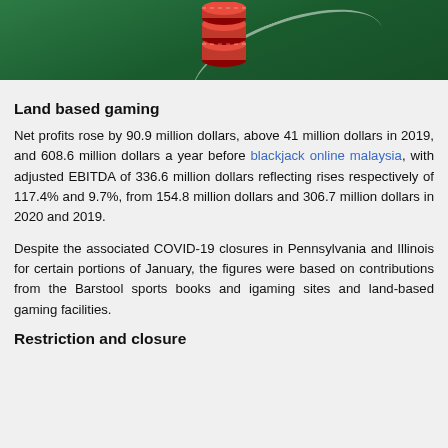[Figure (photo): Top portion of a casino table with green felt and a pile of red and green poker chips]
Land based gaming
Net profits rose by 90.9 million dollars, above 41 million dollars in 2019, and 608.6 million dollars a year before blackjack online malaysia, with adjusted EBITDA of 336.6 million dollars reflecting rises respectively of 117.4% and 9.7%, from 154.8 million dollars and 306.7 million dollars in 2020 and 2019.
Despite the associated COVID-19 closures in Pennsylvania and Illinois for certain portions of January, the figures were based on contributions from the Barstool sports books and igaming sites and land-based gaming facilities.
Restriction and closure